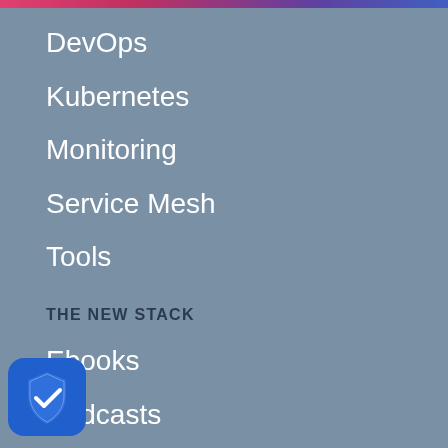DevOps
Kubernetes
Monitoring
Service Mesh
Tools
THE NEW STACK
Ebooks
Podcasts
Events
Newsletter
About / Contact
Sponsors
Sponsorship
[Figure (illustration): Blue shield icon with white checkmark in bottom-left corner]